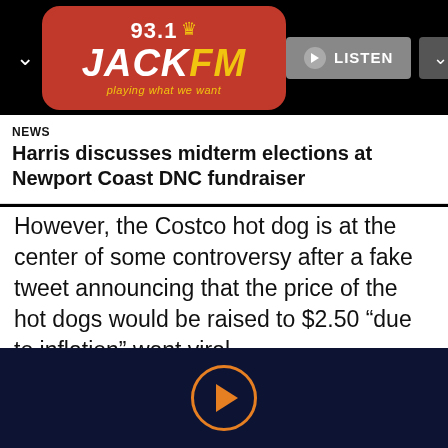[Figure (logo): 93.1 Jack FM radio station logo — red rounded rectangle with white '93.1', yellow crown, white/yellow 'JACK FM' text, yellow tagline 'playing what we want']
LISTEN
NEWS
Harris discusses midterm elections at Newport Coast DNC fundraiser
However, the Costco hot dog is at the center of some controversy after a fake tweet announcing that the price of the hot dogs would be raised to $2.50 “due to inflation” went viral.
***BREAKING--COSTCO ANNOUNCES PLANS TO RAISE FOOD COURT HOT-DOG PRICES BY $1 DUE TO INFLATION
...Rich Kid (WantchEver Sent)